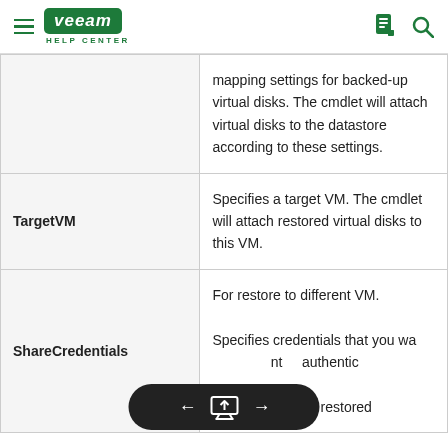Veeam Help Center
| Parameter | Description |
| --- | --- |
|  | mapping settings for backed-up virtual disks. The cmdlet will attach virtual disks to the datastore according to these settings. |
| TargetVM | Specifies a target VM. The cmdlet will attach restored virtual disks to this VM. |
| ShareCredentials | For restore to different VM.

Specifies credentials that you wa... authentic...

which you attach restored... |